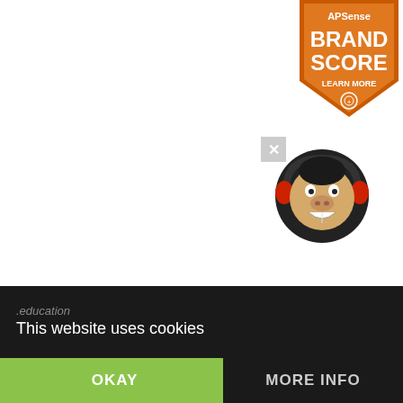[Figure (logo): APSense Brand Score badge - orange shield shape with text 'APSense BRAND SCORE LEARN MORE' and a magnifier icon]
[Figure (logo): Monkey cartoon mascot wearing red headphones, smiling, on dark circular background]
HIGHRANKDIRECTORY
.education
This website uses cookies
OKAY
MORE INFO